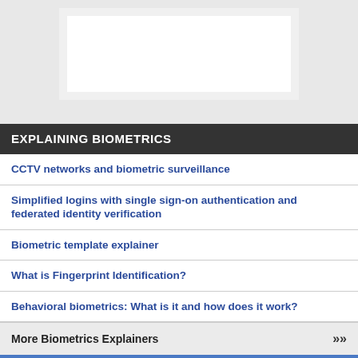[Figure (other): White placeholder image box on grey background]
EXPLAINING BIOMETRICS
CCTV networks and biometric surveillance
Simplified logins with single sign-on authentication and federated identity verification
Biometric template explainer
What is Fingerprint Identification?
Behavioral biometrics: What is it and how does it work?
More Biometrics Explainers >>>
[Figure (logo): Biometric Update .com logo in white on blue background]